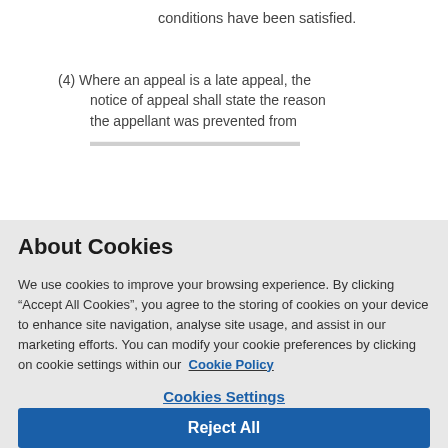conditions have been satisfied.
(4) Where an appeal is a late appeal, the notice of appeal shall state the reason the appellant was prevented from
About Cookies
We use cookies to improve your browsing experience. By clicking “Accept All Cookies”, you agree to the storing of cookies on your device to enhance site navigation, analyse site usage, and assist in our marketing efforts. You can modify your cookie preferences by clicking on cookie settings within our Cookie Policy
Cookies Settings
Reject All
Accept All Cookies